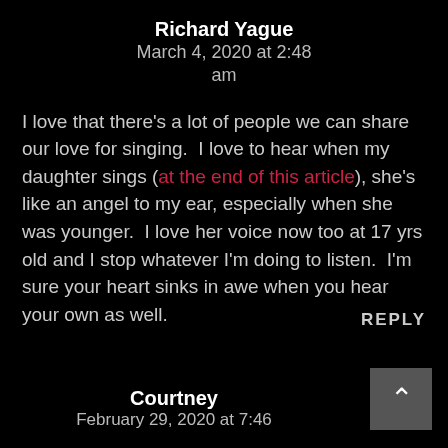Richard Yague
March 4, 2020 at 2:48 am
I love that there's a lot of people we can share our love for singing.  I love to hear when my daughter sings (at the end of this article), she's like an angel to my ear, especially when she was younger.  I love her voice now too at 17 yrs old and I stop whatever I'm doing to listen.  I'm sure your heart sinks in awe when you hear your own as well.
REPLY
Courtney
February 29, 2020 at 7:46